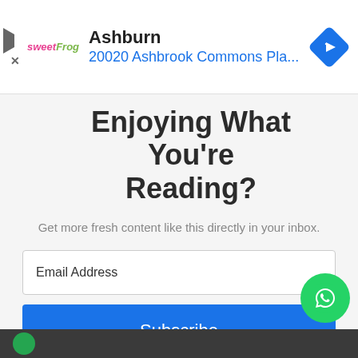[Figure (screenshot): Advertisement banner showing sweetFrog logo, location 'Ashburn', address '20020 Ashbrook Commons Pla...' with a blue navigation diamond icon on the right, and play/close icons on the left]
Enjoying What You're Reading?
Get more fresh content like this directly in your inbox.
Email Address
Subscribe
We won't send you spam. Unsubscribe at any time.
Need Help? Chat with us
[Figure (logo): WhatsApp chat button (green circle with phone handset icon)]